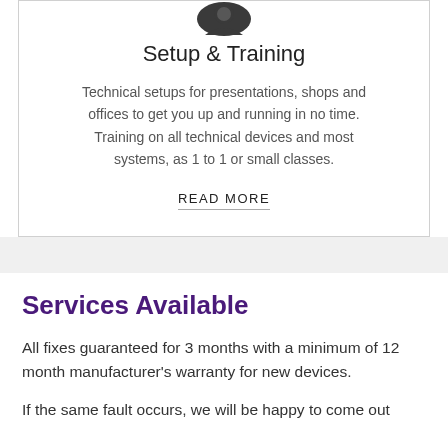[Figure (illustration): Dark circular icon with a person/headset silhouette at top of card]
Setup & Training
Technical setups for presentations, shops and offices to get you up and running in no time. Training on all technical devices and most systems, as 1 to 1 or small classes.
READ MORE
Services Available
All fixes guaranteed for 3 months with a minimum of 12 month manufacturer's warranty for new devices.
If the same fault occurs, we will be happy to come out